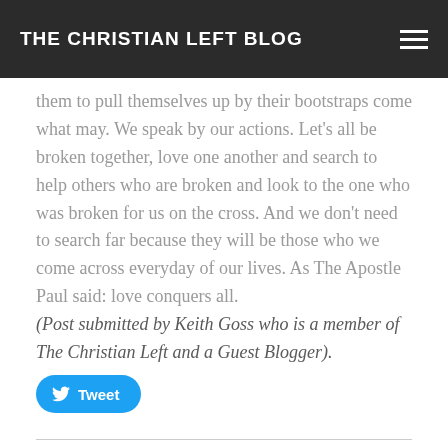THE CHRISTIAN LEFT BLOG
what may. We speak by our actions. Let’s all be broken together, love one another and search to help others who are broken and look to the one who was broken for us on the cross. And we don’t need to search far because they will be those who we come across everyday of our lives. As The Apostle Paul said: love conquers all.
(Post submitted by Keith Goss who is a member of The Christian Left and a Guest Blogger).
[Figure (other): Tweet button with Twitter bird icon]